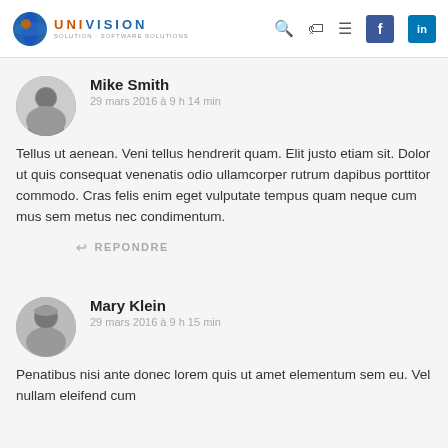[Figure (logo): Univision logo with blue globe icon and orange/blue text]
Mike Smith
29 mars 2016 à 9 h 14 min
Tellus ut aenean. Veni tellus hendrerit quam. Elit justo etiam sit. Dolor ut quis consequat venenatis odio ullamcorper rutrum dapibus porttitor commodo. Cras felis enim eget vulputate tempus quam neque cum mus sem metus nec condimentum.
REPONDRE
Mary Klein
29 mars 2016 à 9 h 15 min
Penatibus nisi ante donec lorem quis ut amet elementum sem eu. Vel nullam eleifend cum